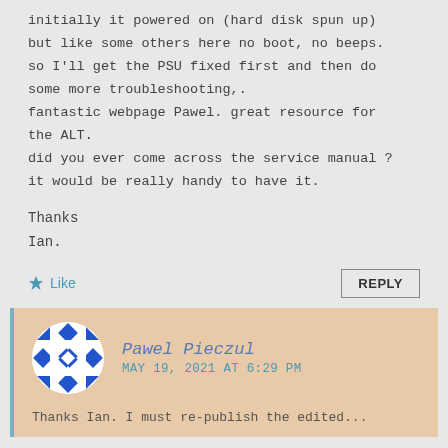initially it powered on (hard disk spun up) but like some others here no boot, no beeps. so I'll get the PSU fixed first and then do some more troubleshooting,.
fantastic webpage Pawel. great resource for the ALT.
did you ever come across the service manual ? it would be really handy to have it.
Thanks
Ian.
Like
REPLY
Pawel Pieczul
MAY 19, 2021 AT 6:29 PM
Thanks Ian. I must re-publish the edited...